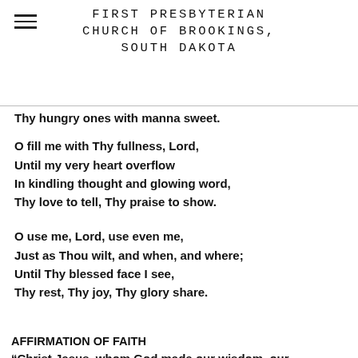FIRST PRESBYTERIAN CHURCH OF BROOKINGS, SOUTH DAKOTA
Thy hungry ones with manna sweet.
O fill me with Thy fullness, Lord,
Until my very heart overflow
In kindling thought and glowing word,
Thy love to tell, Thy praise to show.
O use me, Lord, use even me,
Just as Thou wilt, and when, and where;
Until Thy blessed face I see,
Thy rest, Thy joy, Thy glory share.
AFFIRMATION OF FAITH
“Christ Jesus, whom God made our wisdom, our righteousness and sanctification and redemption. As Jesus Christ is God’s assurance of the forgiveness of all our sins, so in the same way and with the same seriousness is he also God’s mighty claim upon our whole life.”